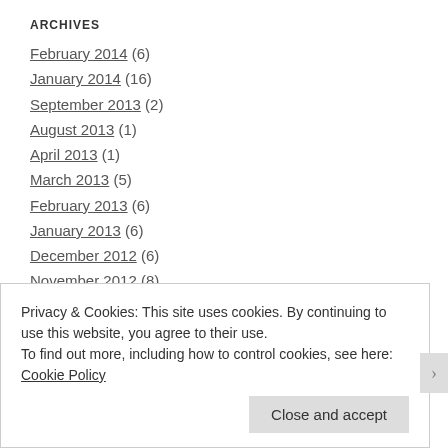ARCHIVES
February 2014 (6)
January 2014 (16)
September 2013 (2)
August 2013 (1)
April 2013 (1)
March 2013 (5)
February 2013 (6)
January 2013 (6)
December 2012 (6)
November 2012 (8)
Privacy & Cookies: This site uses cookies. By continuing to use this website, you agree to their use. To find out more, including how to control cookies, see here: Cookie Policy
Close and accept